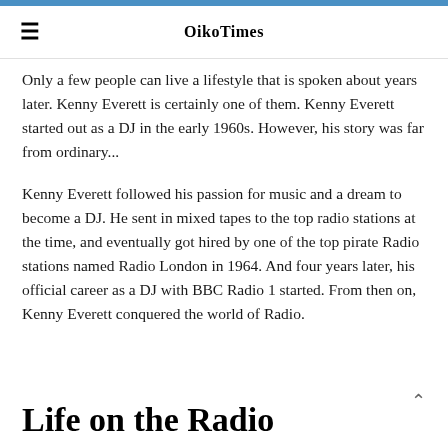OikoTimes
Only a few people can live a lifestyle that is spoken about years later. Kenny Everett is certainly one of them. Kenny Everett started out as a DJ in the early 1960s. However, his story was far from ordinary...
Kenny Everett followed his passion for music and a dream to become a DJ. He sent in mixed tapes to the top radio stations at the time, and eventually got hired by one of the top pirate Radio stations named Radio London in 1964. And four years later, his official career as a DJ with BBC Radio 1 started. From then on, Kenny Everett conquered the world of Radio.
Life on the Radio